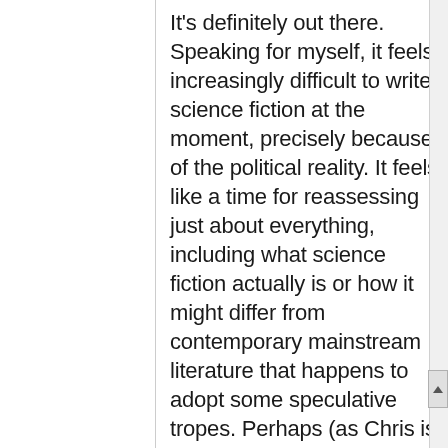It's definitely out there. Speaking for myself, it feels increasingly difficult to write science fiction at the moment, precisely because of the political reality. It feels like a time for reassessing just about everything, including what science fiction actually is or how it might differ from contemporary mainstream literature that happens to adopt some speculative tropes. Perhaps (as Chris is wont to insist) SF really did die